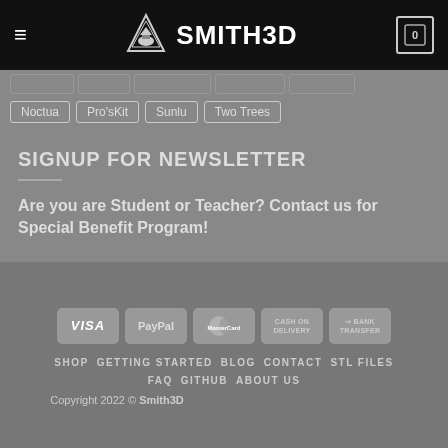SMITH3D
Noctua
Pro'sKit
Sunlu
Two Trees
SIGNUP FOR NEWSLETTER
Are you are Student or Teacher? Contact us for Special Benefit Program!
[Figure (other): Payment method badges: VISA, PayPal, MasterCard, Cash on Delivery, Bank Transfer]
SHOP  GETTING STARTED  BLOG  CONTACT  STL FILES  FAQ  GITHUB  ABOUT US  Copyright 2022 © Smith3D